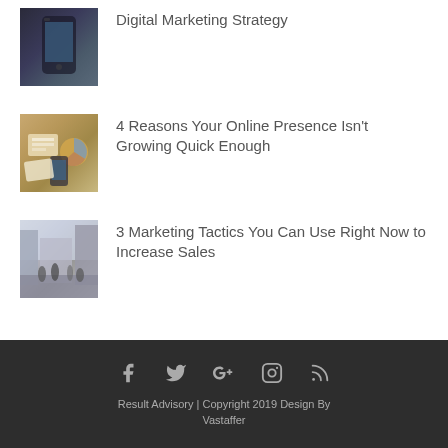Digital Marketing Strategy
[Figure (photo): Hand holding a smartphone]
[Figure (photo): Business charts and documents on a desk]
4 Reasons Your Online Presence Isn't Growing Quick Enough
[Figure (photo): People walking on a busy city street]
3 Marketing Tactics You Can Use Right Now to Increase Sales
Result Advisory | Copyright 2019 Design By Vastaffer